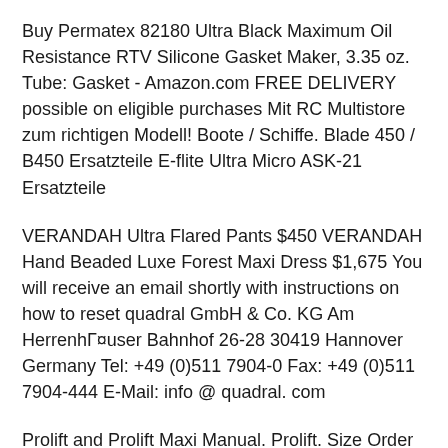Buy Permatex 82180 Ultra Black Maximum Oil Resistance RTV Silicone Gasket Maker, 3.35 oz. Tube: Gasket - Amazon.com FREE DELIVERY possible on eligible purchases Mit RC Multistore zum richtigen Modell! Boote / Schiffe. Blade 450 / B450 Ersatzteile E-flite Ultra Micro ASK-21 Ersatzteile
VERANDAH Ultra Flared Pants $450 VERANDAH Hand Beaded Luxe Forest Maxi Dress $1,675 You will receive an email shortly with instructions on how to reset quadral GmbH & Co. KG Am HerrenhГ¤user Bahnhof 26-28 30419 Hannover Germany Tel: +49 (0)511 7904-0 Fax: +49 (0)511 7904-444 E-Mail: info @ quadral. com
Prolift and Prolift Maxi Manual. Prolift. Size Order Code RRP (AUD) Prolift 24-1: PRT-241: PRN-450: Ultralift Australia $ 3990: We can help you, call us on +61 3 It provides overall instructions for their application; but references individual